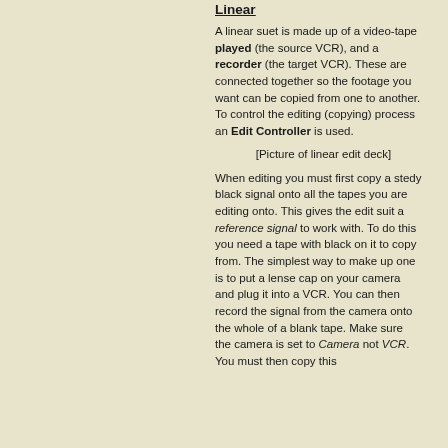Linear
A linear suet is made up of a video-tape played (the source VCR), and a recorder (the target VCR). These are connected together so the footage you want can be copied from one to another. To control the editing (copying) process an Edit Controller is used.
[Figure (other): [Picture of linear edit deck]]
When editing you must first copy a stedy black signal onto all the tapes you are editing onto. This gives the edit suit a reference signal to work with. To do this you need a tape with black on it to copy from. The simplest way to make up one is to put a lense cap on your camera and plug it into a VCR. You can then record the signal from the camera onto the whole of a blank tape. Make sure the camera is set to Camera not VCR. You must then copy this